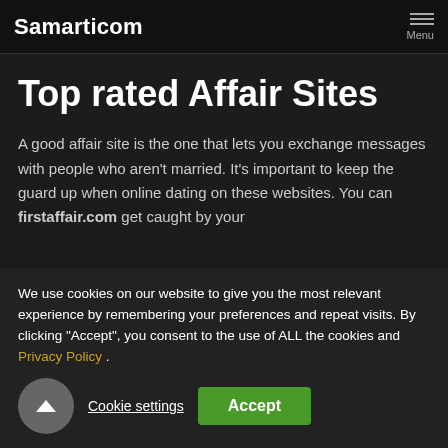Samarticom
Top rated Affair Sites
A good affair site is the one that lets you exchange messages with people who aren't married. It's important to keep the guard up when online dating on these websites. You can firstaffair.com get caught by your
We use cookies on our website to give you the most relevant experience by remembering your preferences and repeat visits. By clicking "Accept", you consent to the use of ALL the cookies and Privacy Policy .
Cookie settings
Accept